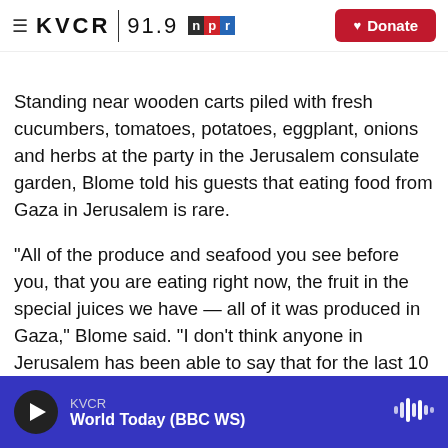KVCR 91.9 NPR | Donate
Standing near wooden carts piled with fresh cucumbers, tomatoes, potatoes, eggplant, onions and herbs at the party in the Jerusalem consulate garden, Blome told his guests that eating food from Gaza in Jerusalem is rare.
"All of the produce and seafood you see before you, that you are eating right now, the fruit in the special juices we have — all of it was produced in Gaza," Blome said. "I don't think anyone in Jerusalem has been able to say that for the last 10 years."
KVCR | World Today (BBC WS)